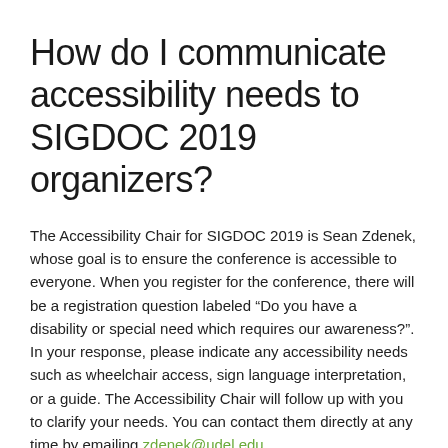How do I communicate accessibility needs to SIGDOC 2019 organizers?
The Accessibility Chair for SIGDOC 2019 is Sean Zdenek, whose goal is to ensure the conference is accessible to everyone. When you register for the conference, there will be a registration question labeled “Do you have a disability or special need which requires our awareness?”. In your response, please indicate any accessibility needs such as wheelchair access, sign language interpretation, or a guide. The Accessibility Chair will follow up with you to clarify your needs. You can contact them directly at any time by emailing zdenek@udel.edu.